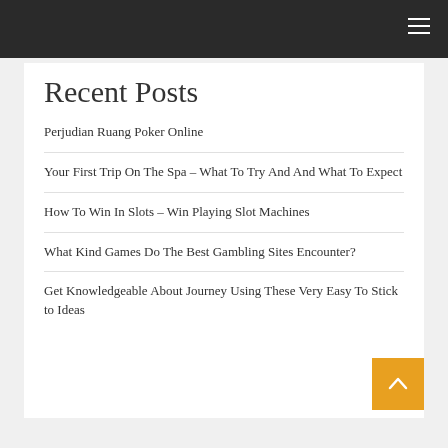Recent Posts
Perjudian Ruang Poker Online
Your First Trip On The Spa – What To Try And And What To Expect
How To Win In Slots – Win Playing Slot Machines
What Kind Games Do The Best Gambling Sites Encounter?
Get Knowledgeable About Journey Using These Very Easy To Stick to Ideas